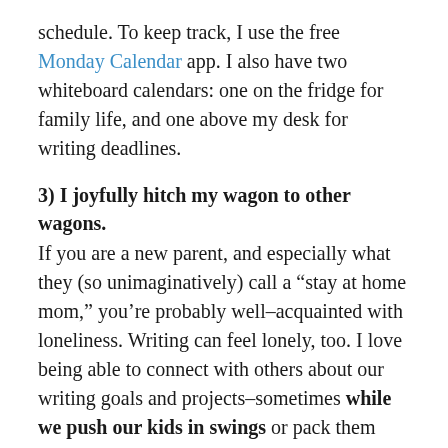schedule. To keep track, I use the free Monday Calendar app. I also have two whiteboard calendars: one on the fridge for family life, and one above my desk for writing deadlines.
3) I joyfully hitch my wagon to other wagons.
If you are a new parent, and especially what they (so unimaginatively) call a “stay at home mom,” you’re probably well-acquainted with loneliness. Writing can feel lonely, too. I love being able to connect with others about our writing goals and projects–sometimes while we push our kids in swings or pack them into the backpack for a hike.